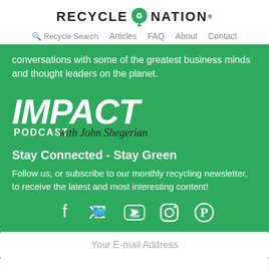[Figure (logo): Recycle Nation logo with map pin icon and recycling symbol]
Recycle Search   Articles   FAQ   About   Contact
conversations with some of the greatest business minds and thought leaders on the planet.
[Figure (logo): IMPACT Podcast with John Shegerian logo in white on green background]
Stay Connected - Stay Green
Follow us, or subscribe to our monthly recycling newsletter, to receive the latest and most interesting content!
[Figure (infographic): Social media icons: Facebook, Twitter, YouTube, Instagram, Pinterest]
Your E-mail Address